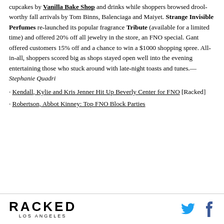cupcakes by Vanilla Bake Shop and drinks while shoppers browsed drool-worthy fall arrivals by Tom Binns, Balenciaga and Maiyet. Strange Invisible Perfumes relaunched its popular fragrance Tribute (available for a limited time) and offered 20% off all jewelry in the store, an FNO special. Gant offered customers 15% off and a chance to win a $1000 shopping spree. All-in-all, shoppers scored big as shops stayed open well into the evening entertaining those who stuck around with late-night toasts and tunes.— Stephanie Quadri
· Kendall, Kylie and Kris Jenner Hit Up Beverly Center for FNO [Racked]
· Robertson, Abbot Kinney: Top FNO Block Parties
RACKED LOS ANGELES